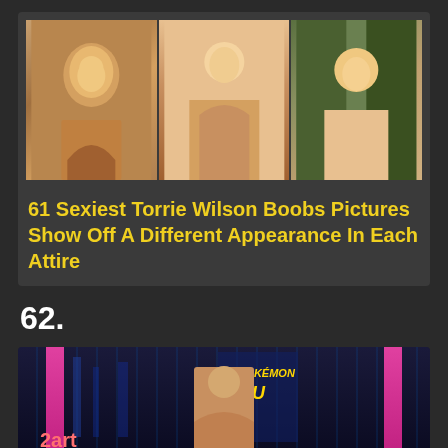[Figure (photo): Three photos of a blonde woman in various poses and outfits arranged in a horizontal strip]
61 Sexiest Torrie Wilson Boobs Pictures Show Off A Different Appearance In Each Attire
62.
[Figure (photo): Photo of a woman at a Pokemon Detective Pikachu event with pink promotional banners]